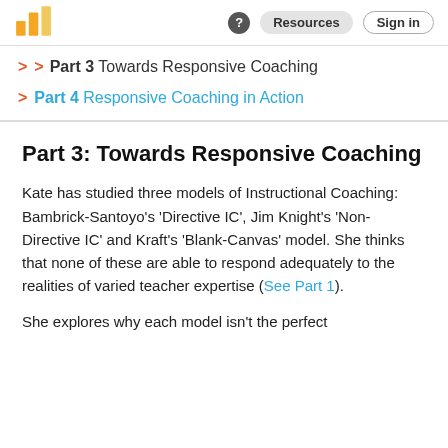Logo | ? | Resources | Sign in
> > Part 3 Towards Responsive Coaching
> Part 4 Responsive Coaching in Action
Part 3: Towards Responsive Coaching
Kate has studied three models of Instructional Coaching: Bambrick-Santoyo's 'Directive IC', Jim Knight's 'Non-Directive IC' and Kraft's 'Blank-Canvas' model. She thinks that none of these are able to respond adequately to the realities of varied teacher expertise (See Part 1).
She explores why each model isn't the perfect